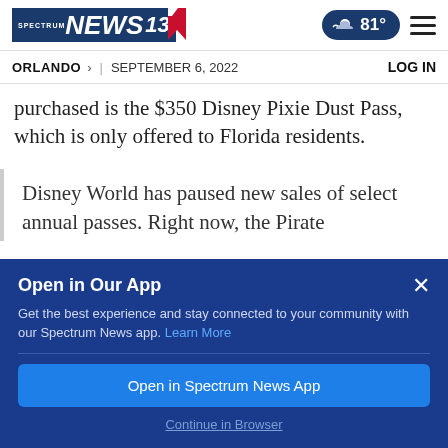Spectrum News 13 | Orlando | September 6, 2022 | 81° | LOG IN
purchased is the $350 Disney Pixie Dust Pass, which is only offered to Florida residents.
Disney World has paused new sales of select annual passes. Right now, the Pirate
Open in Our App
Get the best experience and stay connected to your community with our Spectrum News app. Learn More
Open in Spectrum News App
Continue in Browser